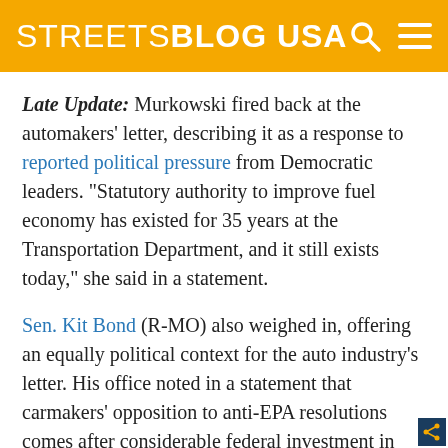STREETSBLOG USA
Late Update: Murkowski fired back at the automakers' letter, describing it as a response to reported political pressure from Democratic leaders. "Statutory authority to improve fuel economy has existed for 35 years at the Transportation Department, and it still exists today," she said in a statement.
Sen. Kit Bond (R-MO) also weighed in, offering an equally political context for the auto industry’s letter. His office noted in a statement that carmakers’ opposition to anti-EPA resolutions comes after considerable federal investment in their industry: "We should take news of auto manufacturer support for EPA carbon